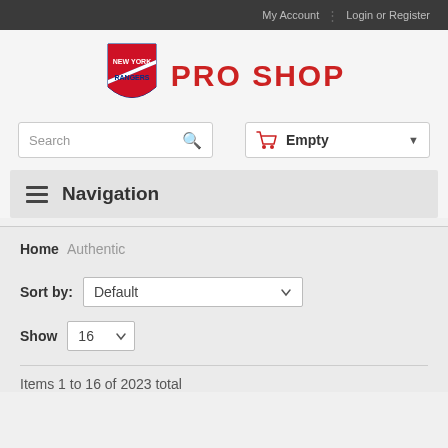My Account | Login or Register
[Figure (logo): New York Rangers Pro Shop logo with shield emblem and red PRO SHOP text]
Search
Empty
Navigation
Home  Authentic
Sort by: Default
Show 16
Items 1 to 16 of 2023 total